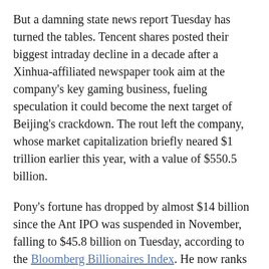But a damning state news report Tuesday has turned the tables. Tencent shares posted their biggest intraday decline in a decade after a Xinhua-affiliated newspaper took aim at the company's key gaming business, fueling speculation it could become the next target of Beijing's crackdown. The rout left the company, whose market capitalization briefly neared $1 trillion earlier this year, with a value of $550.5 billion.
Pony's fortune has dropped by almost $14 billion since the Ant IPO was suspended in November, falling to $45.8 billion on Tuesday, according to the Bloomberg Billionaires Index. He now ranks third on the China rich list behind Jack, who has a net worth of $47.8 billion.
While state media toned down their language on gaming Wednesday, helping fuel a more than 5% rebound in Tencent, the stock is still 17% lower for the year. The outlook will depend in large part on what comes next from regulators, who shocked investors late last month with a